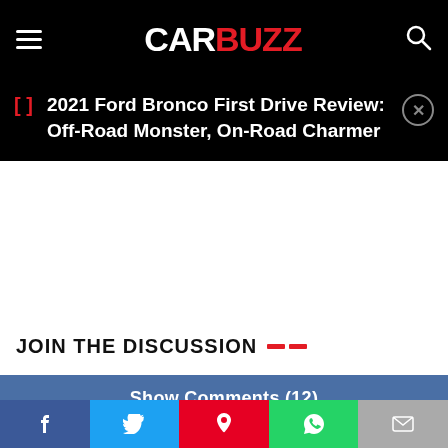CarBuzz
2021 Ford Bronco First Drive Review: Off-Road Monster, On-Road Charmer
JOIN THE DISCUSSION
Show Comments (12)
[Figure (screenshot): Advertisement banner: Shred415 Sterling - Try Us For Free with LEARN MORE button]
[Figure (infographic): Social share bar with Facebook, Twitter, Pinterest, WhatsApp, and Email buttons]